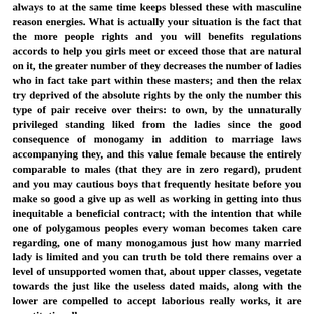always to at the same time keeps blessed these with masculine reason energies. What is actually your situation is the fact that the more people rights and you will benefits regulations accords to help you girls meet or exceed those that are natural on it, the greater number of they decreases the number of ladies who in fact take part within these masters; and then the relax try deprived of the absolute rights by the only the number this type of pair receive over theirs: to own, by the unnaturally privileged standing liked from the ladies since the good consequence of monogamy in addition to marriage laws accompanying they, and this value female because the entirely comparable to males (that they are in zero regard), prudent and you may cautious boys that frequently hesitate before you make so good a give up as well as working in getting into thus inequitable a beneficial contract; with the intention that while one of polygamous peoples every woman becomes taken care regarding, one of many monogamous just how many married lady is limited and you can truth be told there remains over a level of unsupported women that, about upper classes, vegetate towards the just like the useless dated maids, along with the lower are compelled to accept laborious really works, it are constitutionally